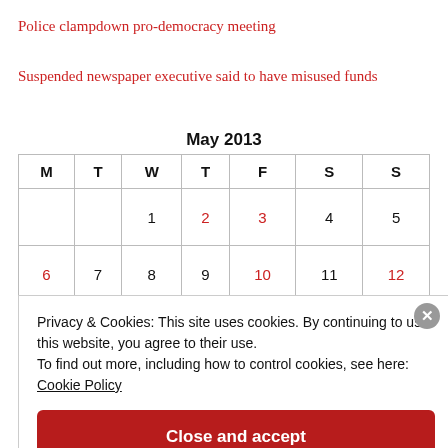Police clampdown pro-democracy meeting
Suspended newspaper executive said to have misused funds
| M | T | W | T | F | S | S |
| --- | --- | --- | --- | --- | --- | --- |
|  |  | 1 | 2 | 3 | 4 | 5 |
| 6 | 7 | 8 | 9 | 10 | 11 | 12 |
May 2013
Privacy & Cookies: This site uses cookies. By continuing to use this website, you agree to their use.
To find out more, including how to control cookies, see here:
Cookie Policy
Close and accept